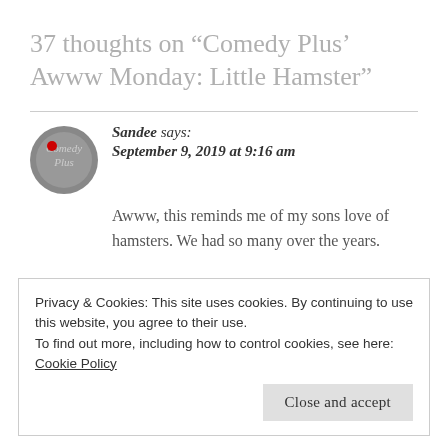37 thoughts on “Comedy Plus’ Awww Monday: Little Hamster”
Sandee says:
September 9, 2019 at 9:16 am
Awww, this reminds me of my sons love of hamsters. We had so many over the years.
Privacy & Cookies: This site uses cookies. By continuing to use this website, you agree to their use.
To find out more, including how to control cookies, see here: Cookie Policy